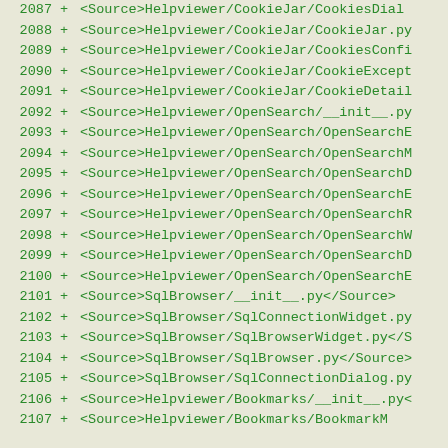2087 + <Source>Helpviewer/CookieJar/CookiesDial...
2088 + <Source>Helpviewer/CookieJar/CookieJar.py...
2089 + <Source>Helpviewer/CookieJar/CookiesConfi...
2090 + <Source>Helpviewer/CookieJar/CookieExcept...
2091 + <Source>Helpviewer/CookieJar/CookieDetail...
2092 + <Source>Helpviewer/OpenSearch/__init__.py...
2093 + <Source>Helpviewer/OpenSearch/OpenSearchE...
2094 + <Source>Helpviewer/OpenSearch/OpenSearchM...
2095 + <Source>Helpviewer/OpenSearch/OpenSearchD...
2096 + <Source>Helpviewer/OpenSearch/OpenSearchE...
2097 + <Source>Helpviewer/OpenSearch/OpenSearchR...
2098 + <Source>Helpviewer/OpenSearch/OpenSearchW...
2099 + <Source>Helpviewer/OpenSearch/OpenSearchD...
2100 + <Source>Helpviewer/OpenSearch/OpenSearchE...
2101 + <Source>SqlBrowser/__init__.py</Source>
2102 + <Source>SqlBrowser/SqlConnectionWidget.py...
2103 + <Source>SqlBrowser/SqlBrowserWidget.py</S...
2104 + <Source>SqlBrowser/SqlBrowser.py</Source>
2105 + <Source>SqlBrowser/SqlConnectionDialog.py...
2106 + <Source>Helpviewer/Bookmarks/__init__.py<...
2107 + <Source>Helpviewer/Bookmarks/BookmarkM...